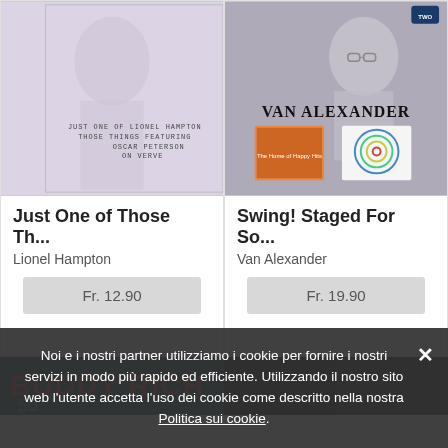[Figure (photo): Album cover for 'Just One of Those Things' by Lionel Hampton featuring Oscar Peterson on Verve. Light purple/white tones with ghostly figure silhouette.]
Just One of Those Th...
Lionel Hampton
Fr. 12.90
[Figure (photo): Album cover for 'Swing! Staged For Sound' by Van Alexander. Gray background with man in glasses and two smaller album insets.]
Swing! Staged For So...
Van Alexander
Fr. 19.90
[Figure (photo): Partially visible album cover showing 'BUDDY RICH' text and teal/dark background, partially obscured by cookie banner.]
Noi e i nostri partner utilizziamo i cookie per fornire i nostri servizi in modo più rapido ed efficiente. Utilizzando il nostro sito web l'utente accetta l'uso dei cookie come descritto nella nostra Politica sui cookie.